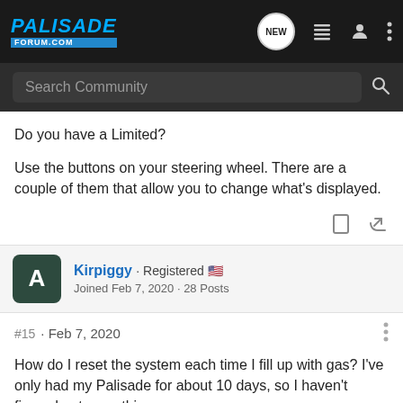[Figure (logo): PalisadeForum.com logo in blue on dark background with navigation icons]
Search Community
Do you have a Limited?

Use the buttons on your steering wheel. There are a couple of them that allow you to change what's displayed.
Kirpiggy · Registered 🇺🇸
Joined Feb 7, 2020 · 28 Posts
#15 · Feb 7, 2020
How do I reset the system each time I fill up with gas? I've only had my Palisade for about 10 days, so I haven't figured out everything.